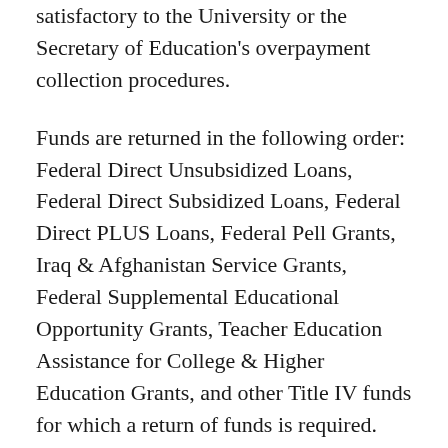satisfactory to the University or the Secretary of Education's overpayment collection procedures.
Funds are returned in the following order: Federal Direct Unsubsidized Loans, Federal Direct Subsidized Loans, Federal Direct PLUS Loans, Federal Pell Grants, Iraq & Afghanistan Service Grants, Federal Supplemental Educational Opportunity Grants, Teacher Education Assistance for College & Higher Education Grants, and other Title IV funds for which a return of funds is required.
The Office of Student Financial Aid calculates the amount of unearned Title IV grant and loan funds, and has available examples of the application of